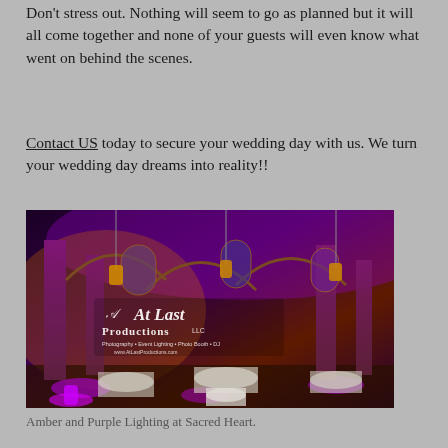Don't stress out. Nothing will seem to go as planned but it will all come together and none of your guests will even know what went on behind the scenes.
Contact US today to secure your wedding day with us. We turn your wedding day dreams into reality!!
[Figure (photo): Indoor venue with amber and purple uplighting illuminating tall arched columns in a grand cathedral-style hall. White-draped round tables set for an event. Logo overlay reads 'At Last Productions LLC - Photography • Event Lighting • Photo Booth • DJ • www.AtLastProductions.com']
Amber and Purple Lighting at Sacred Heart.